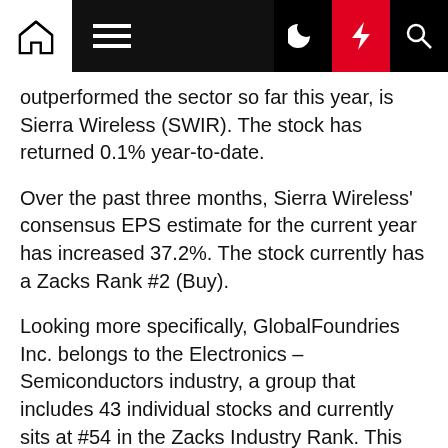Navigation bar with home, menu, moon, bolt, and search icons
outperformed the sector so far this year, is Sierra Wireless (SWIR). The stock has returned 0.1% year-to-date.
Over the past three months, Sierra Wireless' consensus EPS estimate for the current year has increased 37.2%. The stock currently has a Zacks Rank #2 (Buy).
Looking more specifically, GlobalFoundries Inc. belongs to the Electronics – Semiconductors industry, a group that includes 43 individual stocks and currently sits at #54 in the Zacks Industry Rank. This group has lost an average of 16.7% so far this year, so GFS is performing better in this area.
In contrast, Sierra Wireless falls under the Wireless Equipment industry. Currently, this industry has 16